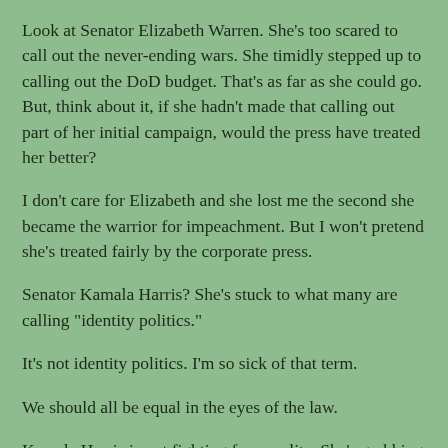Look at Senator Elizabeth Warren.  She's too scared to call out the never-ending wars.  She timidly stepped up to calling out the DoD budget.  That's as far as she could go.  But, think about it, if she hadn't made that calling out part of her initial campaign, would the press have treated her better?
I don't care for Elizabeth and she lost me the second she became the warrior for impeachment.  But I won't pretend she's treated fairly by the corporate press.
Senator Kamala Harris?  She's stuck to what many are calling "identity politics."
It's not identity politics.  I'm so sick of that term.
We should all be equal in the eyes of the law.
Kamala Harris is not fighting for equality.  She's grabbing the easiest -- and most popular -- positions possible.  Senator Cory Booker does the same.
This isn't "identity politics."  A better term for what they do would